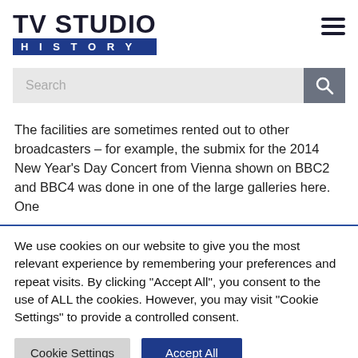TV STUDIO HISTORY
[Figure (other): Search bar with magnifying glass icon]
The facilities are sometimes rented out to other broadcasters – for example, the submix for the 2014 New Year's Day Concert from Vienna shown on BBC2 and BBC4 was done in one of the large galleries here.  One
We use cookies on our website to give you the most relevant experience by remembering your preferences and repeat visits. By clicking "Accept All", you consent to the use of ALL the cookies. However, you may visit "Cookie Settings" to provide a controlled consent.
Cookie Settings   Accept All